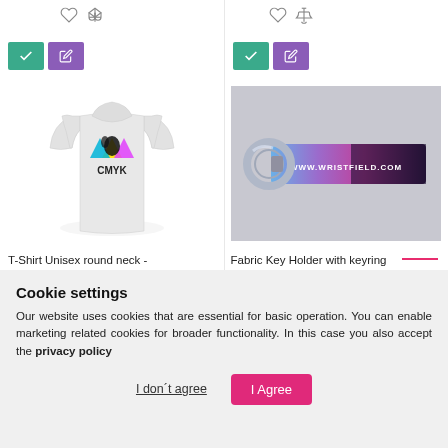[Figure (photo): White t-shirt with CMYK colorful print design on front, shown on product listing page]
T-Shirt Unisex round neck - custom printed - CMYK full-
[Figure (photo): Purple and blue fabric key holder wristlet with keyring and www.wristfield.com text printed on it]
Fabric Key Holder with keyring 20x120 mm - full-colour printed
Cookie settings
Our website uses cookies that are essential for basic operation. You can enable marketing related cookies for broader functionality. In this case you also accept the privacy policy